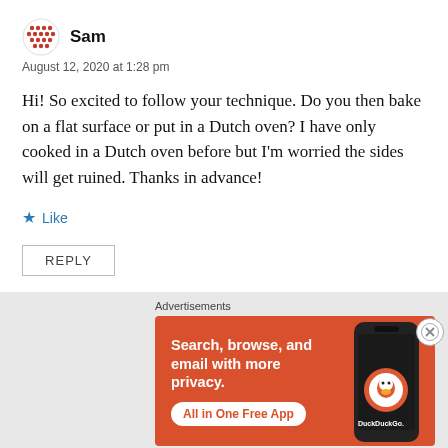Sam
August 12, 2020 at 1:28 pm
Hi! So excited to follow your technique. Do you then bake on a flat surface or put in a Dutch oven? I have only cooked in a Dutch oven before but I'm worried the sides will get ruined. Thanks in advance!
★ Like
REPLY
[Figure (screenshot): DuckDuckGo advertisement banner with orange background. Text reads: 'Search, browse, and email with more privacy. All in One Free App' with DuckDuckGo logo and a phone mockup.]